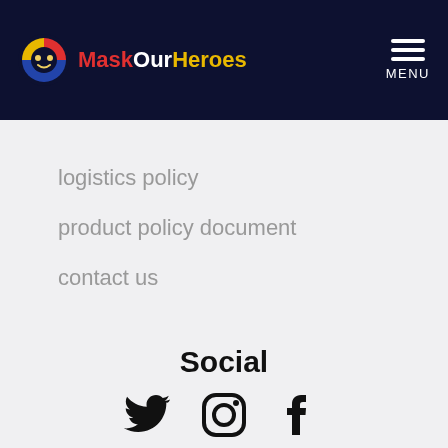MaskOurHeroes — MENU
logistics policy
product policy document
contact us
Social
[Figure (illustration): Social media icons: Twitter (bird), Instagram (camera), Facebook (f)]